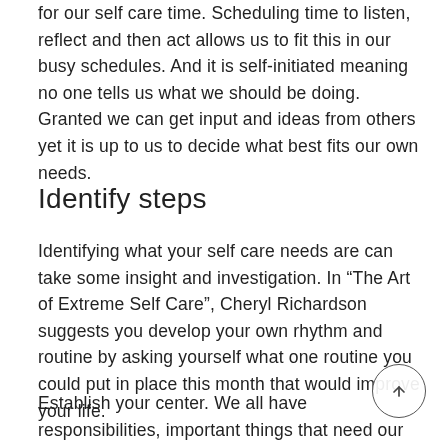for our self care time. Scheduling time to listen, reflect and then act allows us to fit this in our busy schedules. And it is self-initiated meaning no one tells us what we should be doing. Granted we can get input and ideas from others yet it is up to us to decide what best fits our own needs.
Identify steps
Identifying what your self care needs are can take some insight and investigation. In “The Art of Extreme Self Care”, Cheryl Richardson suggests you develop your own rhythm and routine by asking yourself what one routine you could put in place this month that would improve your life.
Establish your center. We all have responsibilities, important things that need our attention. If we are careful, our hearts and minds can be consumed with the task of keeping our busy schedules. Instead of